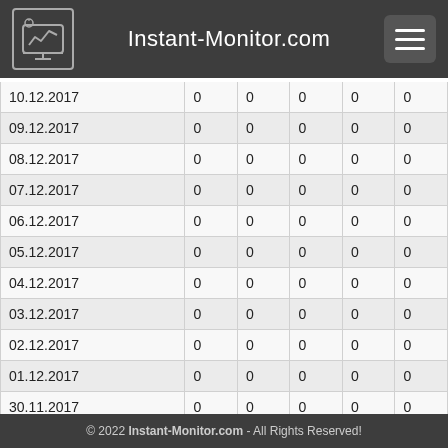Instant-Monitor.com
| Date |  |  |  |  |  |
| --- | --- | --- | --- | --- | --- |
| 10.12.2017 | 0 | 0 | 0 | 0 | 0 |
| 09.12.2017 | 0 | 0 | 0 | 0 | 0 |
| 08.12.2017 | 0 | 0 | 0 | 0 | 0 |
| 07.12.2017 | 0 | 0 | 0 | 0 | 0 |
| 06.12.2017 | 0 | 0 | 0 | 0 | 0 |
| 05.12.2017 | 0 | 0 | 0 | 0 | 0 |
| 04.12.2017 | 0 | 0 | 0 | 0 | 0 |
| 03.12.2017 | 0 | 0 | 0 | 0 | 0 |
| 02.12.2017 | 0 | 0 | 0 | 0 | 0 |
| 01.12.2017 | 0 | 0 | 0 | 0 | 0 |
| 30.11.2017 | 0 | 0 | 0 | 0 | 0 |
| 29.11.2017 | 0 | 0 | 0 | 0 | 0 |
| 28.11.2017 | 0 | 0 | 0 | 0 | 0 |
| 27.11.2017 | 0 | 0 | 0 | 0 | 0 |
| 26.11.2017 | 0 | 0 | 0 | 0 | 0 |
© 2022 Instant-Monitor.com - All Rights Reserved!